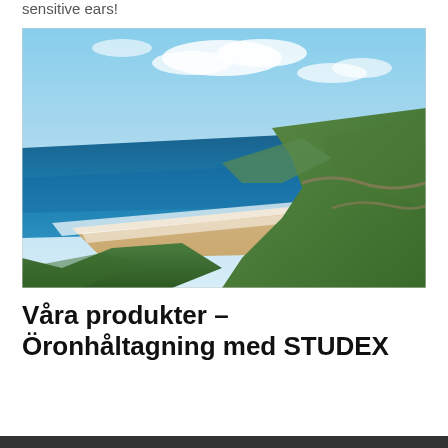sensitive ears!
[Figure (photo): Aerial coastal landscape photograph showing a sweeping sandy beach between green hills and deep blue ocean with white surf, under a partly cloudy sky. A winding road runs along the hillside on the right.]
Våra produkter – Öronhåltagning med STUDEX